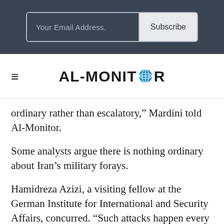[Figure (other): Email subscription form with input field labeled 'Your Email Address.' and a 'Subscribe' button, on a dark slate background]
[Figure (logo): AL-MONITOR logo with globe icon replacing the letter O, with hamburger menu icon to the left]
ordinary rather than escalatory,” Mardini told Al-Monitor.
Some analysts argue there is nothing ordinary about Iran’s military forays.
Hamidreza Azizi, a visiting fellow at the German Institute for International and Security Affairs, concurred. “Such attacks happen every now and again, apparently since some of the Kurdish groups decided to resume armed insurgency against Iran. But what makes the latest Iranian strike different is that the...